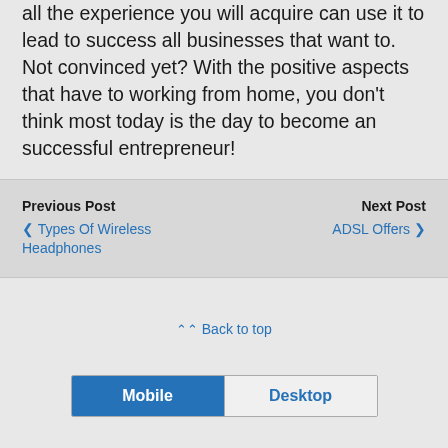all the experience you will acquire can use it to lead to success all businesses that want to. Not convinced yet? With the positive aspects that have to working from home, you don't think most today is the day to become an successful entrepreneur!
Previous Post ‹ Types Of Wireless Headphones | Next Post ADSL Offers ›
⌃⌃ Back to top
Mobile | Desktop